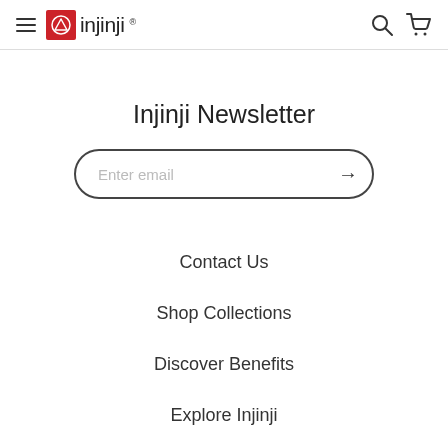injinji
Injinji Newsletter
Enter email
Contact Us
Shop Collections
Discover Benefits
Explore Injinji